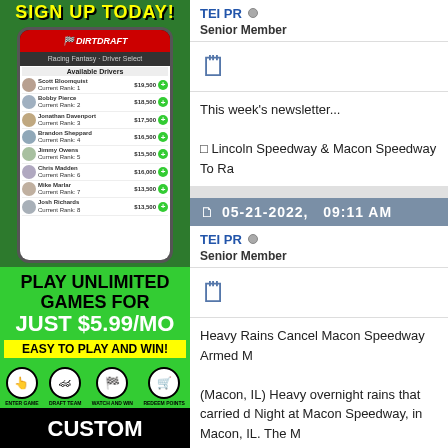[Figure (illustration): DirtDraft fantasy racing app advertisement. Top green banner with 'SIGN UP TODAY!' text, phone mockup showing Available Drivers list with names and prices, green section with 'PLAY UNLIMITED GAMES FOR JUST $5.99/MO' and 'EASY TO PLAY AND WIN!' text with icons, black section with 'CUSTOM' text.]
TEI PR
Senior Member
This week's newsletter...
□ Lincoln Speedway & Macon Speedway To Ra
05-21-2022,   09:11 AM
TEI PR
Senior Member
Heavy Rains Cancel Macon Speedway Armed M
(Macon, IL) Heavy overnight rains that carried d Night at Macon Speedway, in Macon, IL. The M
The 1/5-mile dirt oval will next be in action on M run in the Decatur Building Trades DIRTcar Pro being run under the Midwest Big Ten Series ban